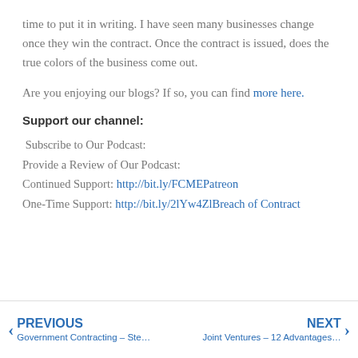time to put it in writing. I have seen many businesses change once they win the contract. Once the contract is issued, does the true colors of the business come out.
Are you enjoying our blogs? If so, you can find more here.
Support our channel:
Subscribe to Our Podcast:
Provide a Review of Our Podcast:
Continued Support: http://bit.ly/FCMEPatreon
One-Time Support: http://bit.ly/2lYw4ZlBreach of Contract
PREVIOUS
Government Contracting – Ste…
NEXT
Joint Ventures – 12 Advantages…